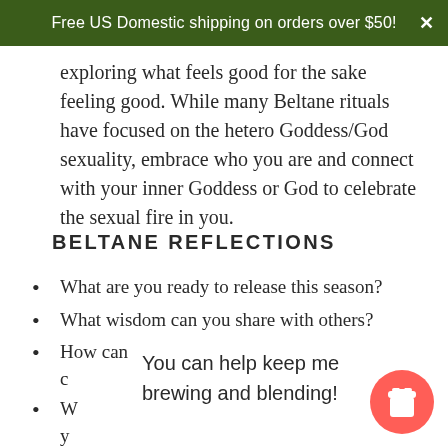Free US Domestic shipping on orders over $50!
exploring what feels good for the sake feeling good. While many Beltane rituals have focused on the hetero Goddess/God sexuality, embrace who you are and connect with your inner Goddess or God to celebrate the sexual fire in you.
BELTANE REFLECTIONS
What are you ready to release this season?
What wisdom can you share with others?
How can you welcome more love and c
W how can y
W ou ta moment?
You can help keep me brewing and blending!